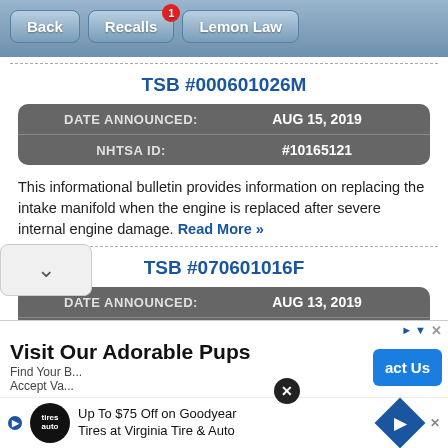Back | Recalls (1) | Lemon Law
TSB #000601026M
| DATE ANNOUNCED: | AUG 15, 2019 |
| --- | --- |
| NHTSA ID: | #10165121 |
This informational bulletin provides information on replacing the intake manifold when the engine is replaced after severe internal engine damage. Read More »
TSB #070601016F
| DATE ANNOUNCED: | AUG 13, 2019 |
| --- | --- |
| NHTSA ID: | #10165122 |
[Figure (screenshot): Mobile app navigation bar with Back, Recalls (badge:1), Lemon Law buttons]
Visit Our Adorable Pups — advertisement banner. Up To $75 Off on Goodyear Tires at Virginia Tire & Auto